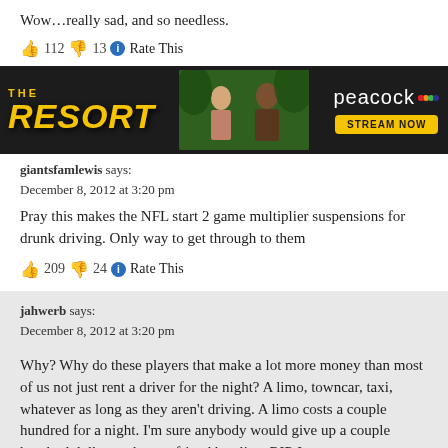Wow…really sad, and so needless.
👍 112 👎 13 🔵 Rate This
[Figure (screenshot): Advertisement banner for 'The Resort' on Peacock streaming service. Dark background with yellow stylized text 'THE RESORT', people in background, Peacock logo and 'STREAM NOW' button.]
giantsfamlewis says:
December 8, 2012 at 3:20 pm
Pray this makes the NFL start 2 game multiplier suspensions for drunk driving. Only way to get through to them
👍 209 👎 24 🔵 Rate This
jahwerb says:
December 8, 2012 at 3:20 pm
Why? Why do these players that make a lot more money than most of us not just rent a driver for the night? A limo, towncar, taxi, whatever as long as they aren't driving. A limo costs a couple hundred for a night. I'm sure anybody would give up a couple hundred dollars to have a friend be alive. RIP Jerry